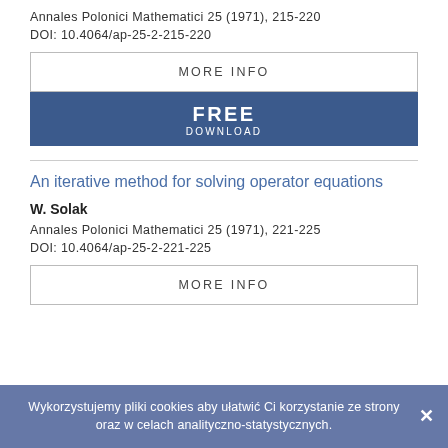Annales Polonici Mathematici 25 (1971), 215-220
DOI: 10.4064/ap-25-2-215-220
[Figure (other): MORE INFO button (white background with border) and FREE DOWNLOAD button (dark blue background)]
An iterative method for solving operator equations
W. Solak
Annales Polonici Mathematici 25 (1971), 221-225
DOI: 10.4064/ap-25-2-221-225
[Figure (other): Partially visible MORE INFO button]
Wykorzystujemy pliki cookies aby ułatwić Ci korzystanie ze strony oraz w celach analityczno-statystycznych.